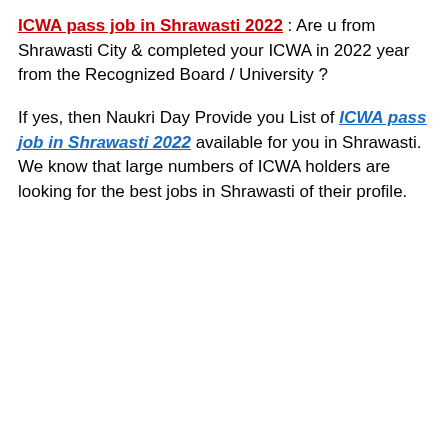ICWA pass job in Shrawasti 2022 : Are u from Shrawasti City & completed your ICWA in 2022 year from the Recognized Board / University ?
If yes, then Naukri Day Provide you List of ICWA pass job in Shrawasti 2022 available for you in Shrawasti. We know that large numbers of ICWA holders are looking for the best jobs in Shrawasti of their profile.